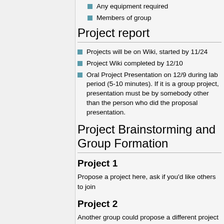Any equipment required
Members of group
Project report
Projects will be on Wiki, started by 11/24
Project Wiki completed by 12/10
Oral Project Presentation on 12/9 during lab period (5-10 minutes). If it is a group project, presentation must be by somebody other than the person who did the proposal presentation.
Project Brainstorming and Group Formation
Project 1
Propose a project here, ask if you'd like others to join
Project 2
Another group could propose a different project here....